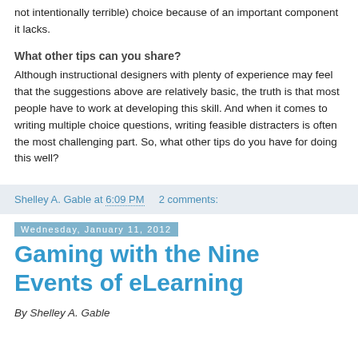not intentionally terrible) choice because of an important component it lacks.
What other tips can you share?
Although instructional designers with plenty of experience may feel that the suggestions above are relatively basic, the truth is that most people have to work at developing this skill. And when it comes to writing multiple choice questions, writing feasible distracters is often the most challenging part. So, what other tips do you have for doing this well?
Shelley A. Gable at 6:09 PM   2 comments:
Wednesday, January 11, 2012
Gaming with the Nine Events of eLearning
By Shelley A. Gable